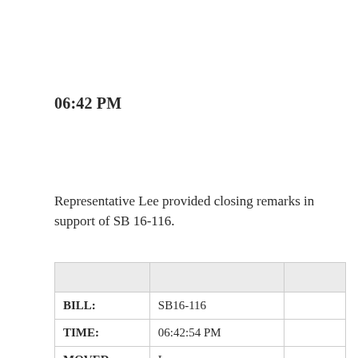06:42 PM
Representative Lee provided closing remarks in support of SB 16-116.
|  |  |  |
| --- | --- | --- |
| BILL: | SB16-116 |  |
| TIME: | 06:42:54 PM |  |
| MOVED: | Lee |  |